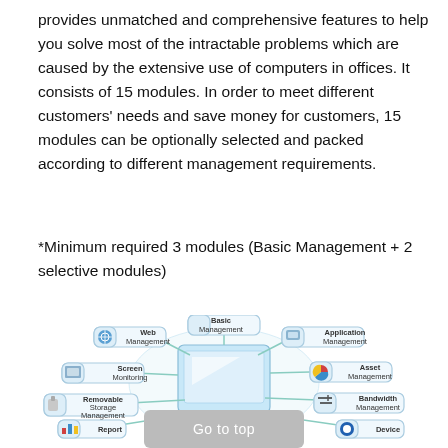provides unmatched and comprehensive features to help you solve most of the intractable problems which are caused by the extensive use of computers in offices. It consists of 15 modules. In order to meet different customers' needs and save money for customers, 15 modules can be optionally selected and packed according to different management requirements.
*Minimum required 3 modules (Basic Management + 2 selective modules)
[Figure (infographic): A diagram showing a central computer monitor connected to multiple management modules: Basic Management (top), Web Management (upper left), Application Management (upper right), Screen Monitoring (middle left), Asset Management (middle right), Removable Storage Management (lower left), Bandwidth Management (lower right), Report (bottom left), Device (bottom right, partially visible).]
Go to top